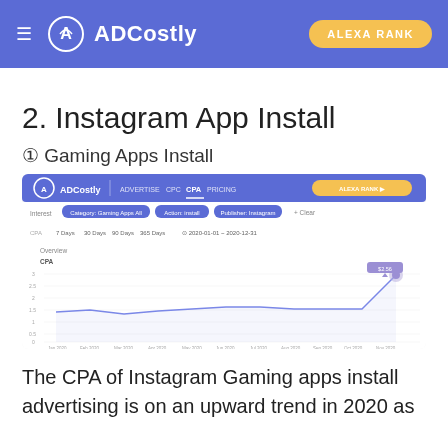ADCostly | ALEXA RANK
2. Instagram App Install
① Gaming Apps Install
[Figure (screenshot): ADCostly dashboard screenshot showing CPA trend line chart for Gaming Apps Install on Instagram from Jan 2020 to Nov 2020, with an upward trend. Filters show Category: Gaming Apps All, Action: Install, Publisher: Instagram. The CPA line chart shows values rising toward the end of 2020.]
The CPA of Instagram Gaming apps install advertising is on an upward trend in 2020 as